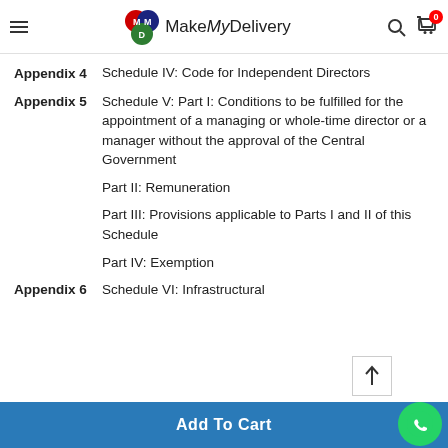MakeMyDelivery
Appendix 4   Schedule IV: Code for Independent Directors
Appendix 5   Schedule V: Part I: Conditions to be fulfilled for the appointment of a managing or whole-time director or a manager without the approval of the Central Government
Part II: Remuneration
Part III: Provisions applicable to Parts I and II of this Schedule
Part IV: Exemption
Appendix 6   Schedule VI: Infrastructural
Add To Cart